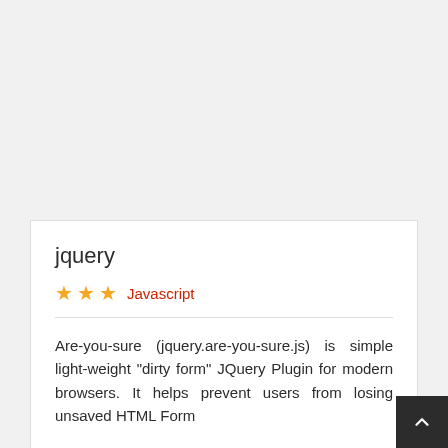jquery
★★★ Javascript
Are-you-sure (jquery.are-you-sure.js) is simple light-weight "dirty form" JQuery Plugin for modern browsers. It helps prevent users from losing unsaved HTML Form